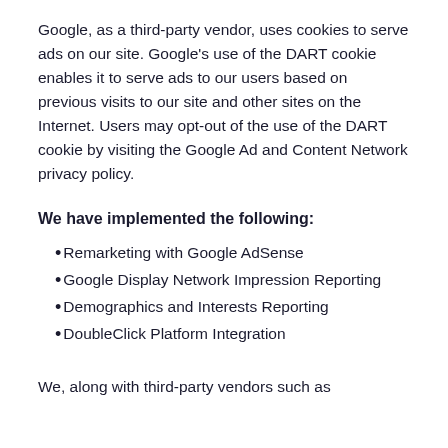Google, as a third-party vendor, uses cookies to serve ads on our site. Google's use of the DART cookie enables it to serve ads to our users based on previous visits to our site and other sites on the Internet. Users may opt-out of the use of the DART cookie by visiting the Google Ad and Content Network privacy policy.
We have implemented the following:
Remarketing with Google AdSense
Google Display Network Impression Reporting
Demographics and Interests Reporting
DoubleClick Platform Integration
We, along with third-party vendors such as